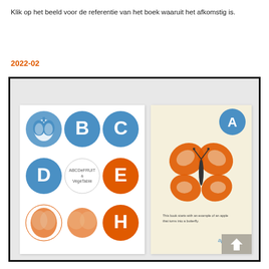Klik op het beeld voor de referentie van het boek waaruit het afkomstig is.
2022-02
[Figure (illustration): Two children's book covers side by side on a grey background with black border. Left cover shows a white background with blue and red circles containing letters B, C, D, E, H and an apple stamp, plus small text 'ABCDeFRUIT & VegeTable'. Right cover shows a cream/yellow background with a red apple-stamp butterfly, a blue circle with letter A, text 'This book starts with an example of an apple that turns into a butterfly.' and the word 'apple' in blue at the bottom right.]